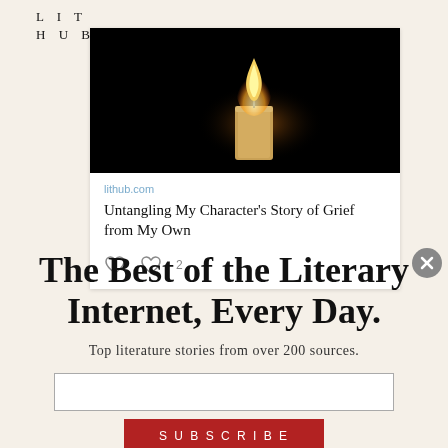LIT
HUB
[Figure (screenshot): A card showing a candle lit against a black background, with lithub.com domain label and article title 'Untangling My Character's Story of Grief from My Own', with social action icons below.]
The Best of the Literary Internet, Every Day.
Top literature stories from over 200 sources.
SUBSCRIBE